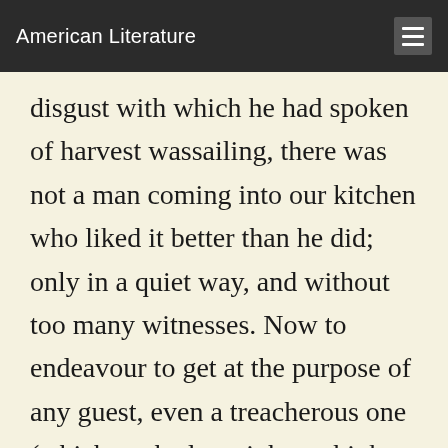American Literature
disgust with which he had spoken of harvest wassailing, there was not a man coming into our kitchen who liked it better than he did; only in a quiet way, and without too many witnesses. Now to endeavour to get at the purpose of any guest, even a treacherous one (which we had no right to think Uncle Reuben) by means of observing him in his cups, is a thing which even the lowest of people would regard with abhorrence. And to my mind it was not clear whether it would be fair-play at all to follow a visitor even at a distance from home and clear of our premises; except for the purpose of fetching him back, and giving him more to go on with. Nevertheless we could not but think, the times